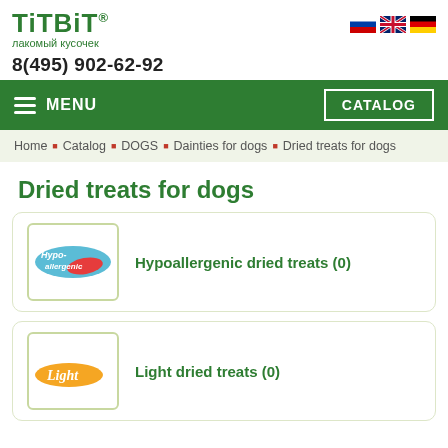[Figure (logo): TiTBiT brand logo with text 'лакомый кусочек' and phone number 8(495) 902-62-92]
MENU | CATALOG
Home • Catalog • DOGS • Dainties for dogs • Dried treats for dogs
Dried treats for dogs
[Figure (illustration): Hypo-allergenic label image]
Hypoallergenic dried treats  (0)
[Figure (illustration): Light label image]
Light dried treats  (0)